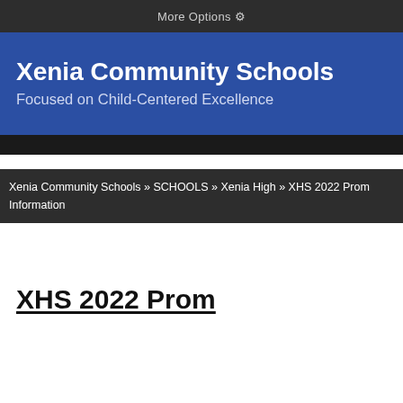More Options ⚙
Xenia Community Schools
Focused on Child-Centered Excellence
Xenia Community Schools » SCHOOLS » Xenia High » XHS 2022 Prom Information
XHS 2022 Prom